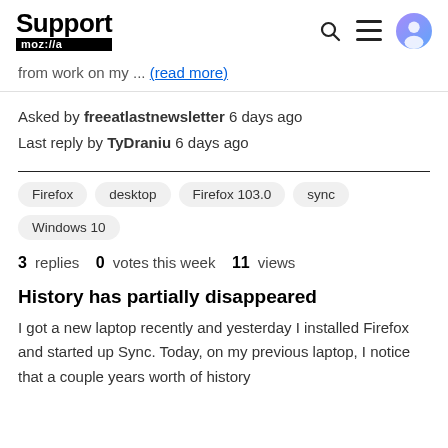Support mozilla
from work on my ... (read more)
Asked by freeatlastnewsletter 6 days ago
Last reply by TyDraniu 6 days ago
Firefox
desktop
Firefox 103.0
sync
Windows 10
3 replies   0 votes this week   11 views
History has partially disappeared
I got a new laptop recently and yesterday I installed Firefox and started up Sync. Today, on my previous laptop, I notice that a couple years worth of history